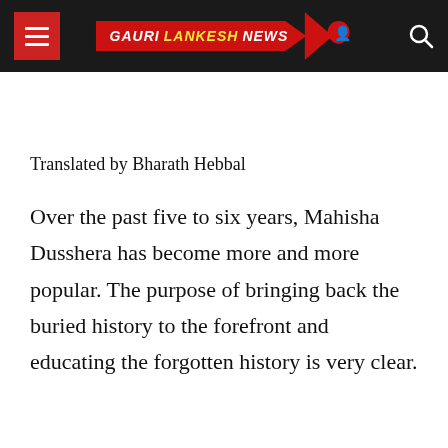GAURI LANKESH NEWS
Translated by Bharath Hebbal
Over the past five to six years, Mahisha Dusshera has become more and more popular. The purpose of bringing back the buried history to the forefront and educating the forgotten history is very clear.